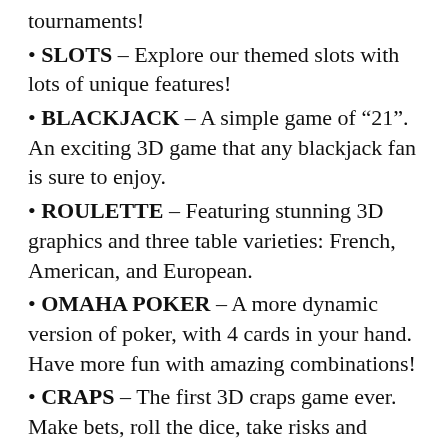tournaments!
SLOTS – Explore our themed slots with lots of unique features!
BLACKJACK – A simple game of “21”. An exciting 3D game that any blackjack fan is sure to enjoy.
ROULETTE – Featuring stunning 3D graphics and three table varieties: French, American, and European.
OMAHA POKER – A more dynamic version of poker, with 4 cards in your hand. Have more fun with amazing combinations!
CRAPS – The first 3D craps game ever. Make bets, roll the dice, take risks and become the best craps player!